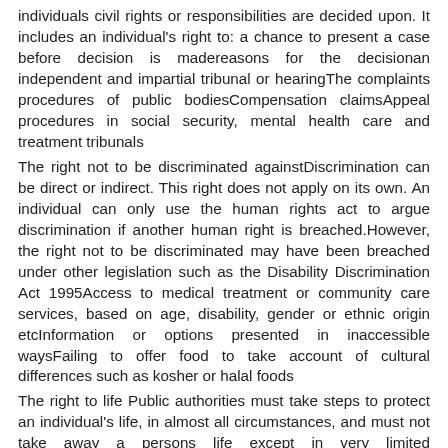individuals civil rights or responsibilities are decided upon. It includes an individual's right to: a chance to present a case before decision is madereasons for the decisionan independent and impartial tribunal or hearingThe complaints procedures of public bodiesCompensation claimsAppeal procedures in social security, mental health care and treatment tribunals
The right not to be discriminated againstDiscrimination can be direct or indirect. This right does not apply on its own. An individual can only use the human rights act to argue discrimination if another human right is breached.However, the right not to be discriminated may have been breached under other legislation such as the Disability Discrimination Act 1995Access to medical treatment or community care services, based on age, disability, gender or ethnic origin etcInformation or options presented in inaccessible waysFailing to offer food to take account of cultural differences such as kosher or halal foods
The right to life Public authorities must take steps to protect an individual's life, in almost all circumstances, and must not take away a persons life except in very limited circumstances. For example, when lawfully defending someone from violenceThis protection requires that there